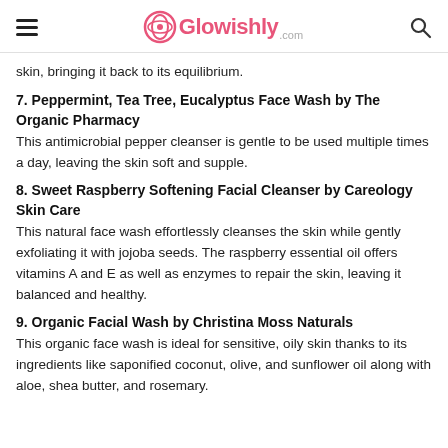Glowishly.com
skin, bringing it back to its equilibrium.
7. Peppermint, Tea Tree, Eucalyptus Face Wash by The Organic Pharmacy
This antimicrobial pepper cleanser is gentle to be used multiple times a day, leaving the skin soft and supple.
8. Sweet Raspberry Softening Facial Cleanser by Careology Skin Care
This natural face wash effortlessly cleanses the skin while gently exfoliating it with jojoba seeds. The raspberry essential oil offers vitamins A and E as well as enzymes to repair the skin, leaving it balanced and healthy.
9. Organic Facial Wash by Christina Moss Naturals
This organic face wash is ideal for sensitive, oily skin thanks to its ingredients like saponified coconut, olive, and sunflower oil along with aloe, shea butter, and rosemary.